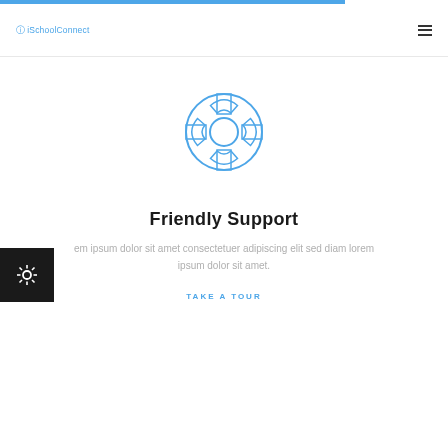iSchoolConnect
[Figure (illustration): Blue lifesaver / life ring icon outline]
Friendly Support
em ipsum dolor sit amet consectetuer adipiscing elit sed diam lorem ipsum dolor sit amet.
TAKE A TOUR